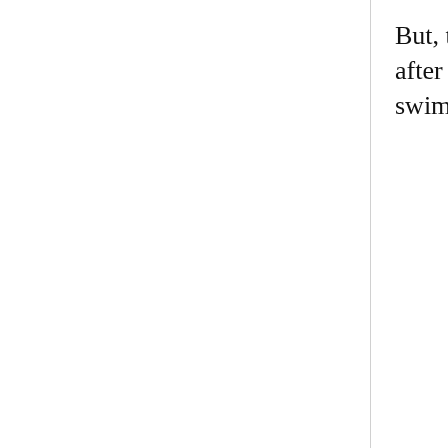But, then again, I start to miss CA after awhile. A lot less food items swimming in mayo.
Valerie
7 February, 2012 - 03:15
permalink
Re: Monday photos: New York cravings
yay! I recently moved